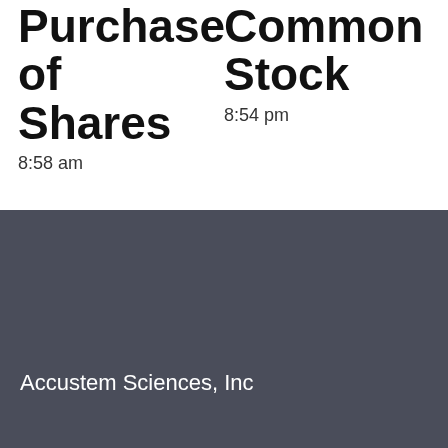Purchase of Shares
8:58 am
Common Stock
8:54 pm
Accustem Sciences, Inc